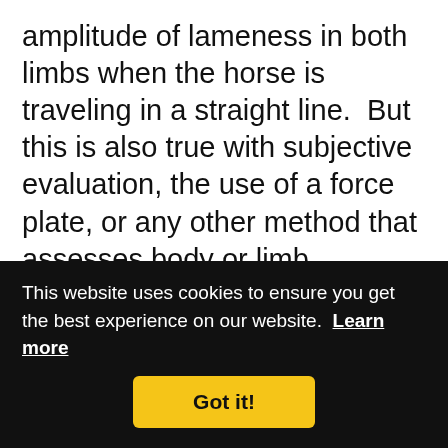amplitude of lameness in both limbs when the horse is traveling in a straight line.  But this is also true with subjective evaluation, the use of a force plate, or any other method that assesses body or limb movement.  But it can be done.  You just have to know what the movement would be in that particular horse without pain on weight bearing, or you would have to compare to an ideal population standard.  When someone is saying that the horse
This website uses cookies to ensure you get the best experience on our website.  Learn more
Got it!
they should see in that particular horse,